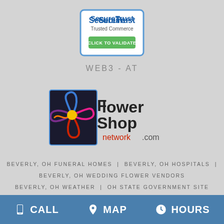[Figure (logo): SecureTrust Trusted Commerce badge with blue border and green 'CLICK TO VALIDATE' button]
WEB3-AT
[Figure (logo): Flower Shop Network .com logo with colorful flower graphic on dark background]
BEVERLY, OH FUNERAL HOMES | BEVERLY, OH HOSPITALS | BEVERLY, OH WEDDING FLOWER VENDORS
BEVERLY, OH WEATHER | OH STATE GOVERNMENT SITE
PRIVACY POLICY | TERMS OF PURCHASE
CALL   MAP   HOURS